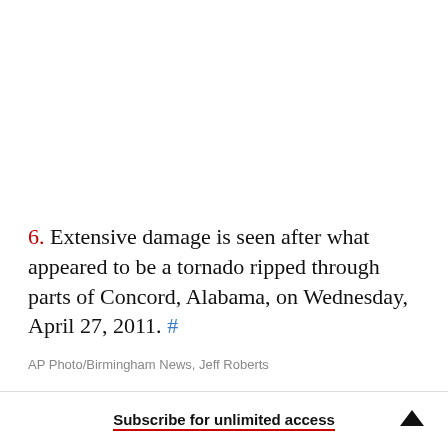6. Extensive damage is seen after what appeared to be a tornado ripped through parts of Concord, Alabama, on Wednesday, April 27, 2011. #
AP Photo/Birmingham News, Jeff Roberts
Subscribe for unlimited access